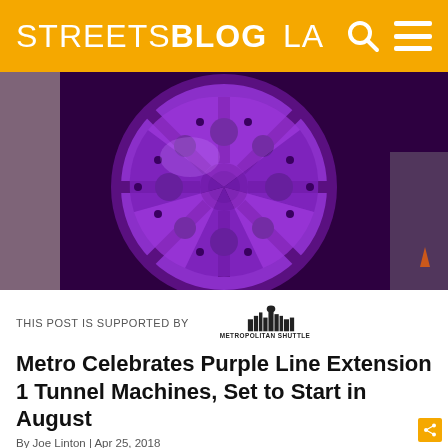STREETSBLOG LA
[Figure (photo): Large purple tunnel boring machine (TBM) cutter head facing the camera, filling the frame. The machine is bright purple/violet with black circular cutters arranged across its face. Workers and an industrial setting are visible in the background.]
THIS POST IS SUPPORTED BY
[Figure (logo): Metropolitan Shuttle logo — city skyline silhouette above the text 'METROPOLITAN SHUTTLE' in bold black letters]
Metro Celebrates Purple Line Extension 1 Tunnel Machines, Set to Start in August
By Joe Linton | Apr 25, 2018